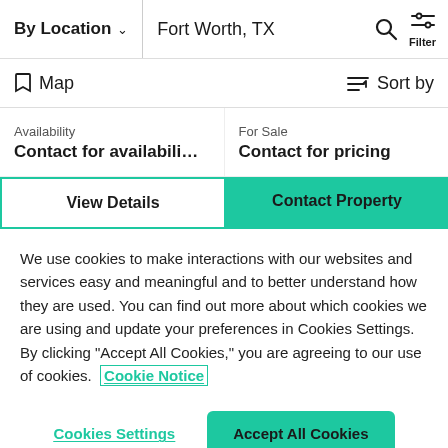By Location | Fort Worth, TX | Filter
Map | Sort by
Availability
Contact for availabili...
For Sale
Contact for pricing
View Details | Contact Property
We use cookies to make interactions with our websites and services easy and meaningful and to better understand how they are used. You can find out more about which cookies we are using and update your preferences in Cookies Settings. By clicking "Accept All Cookies," you are agreeing to our use of cookies.  Cookie Notice
Cookies Settings | Accept All Cookies